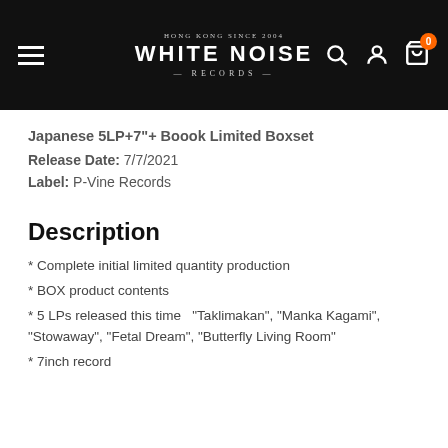WHITE NOISE RECORDS
Japanese 5LP+7"+ Boook Limited Boxset
Release Date: 7/7/2021
Label: P-Vine Records
Description
* Complete initial limited quantity production
* BOX product contents
* 5 LPs released this time  "Taklimakan", "Manka Kagami", "Stowaway", "Fetal Dream", "Butterfly Living Room"
* 7inch record